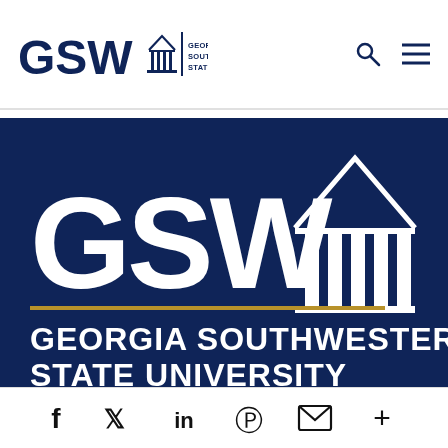[Figure (logo): GSW Georgia Southwestern State University logo in navy blue, with building icon and vertical divider]
For more information and the full schedule of events, visit www.gsw.edu/homecoming.
[Figure (logo): Large GSW Georgia Southwestern State University logo in white on navy blue background with gold horizontal rule and text GEORGIA SOUTHWESTERN STATE UNIVERSITY]
[Figure (infographic): Social media share bar with icons: Facebook, Twitter, LinkedIn, Pinterest, Email, More (+)]